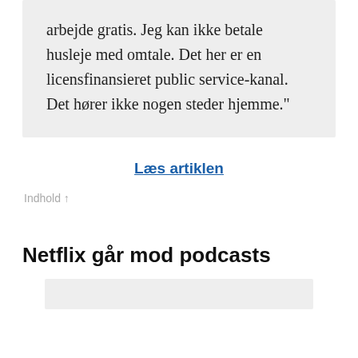arbejde gratis. Jeg kan ikke betale husleje med omtale. Det her er en licensfinansieret public service-kanal. Det hører ikke nogen steder hjemme."
Læs artiklen
Indhold ↑
Netflix går mod podcasts